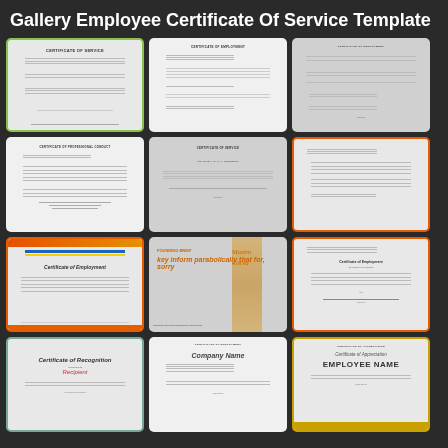Gallery Employee Certificate Of Service Template
[Figure (illustration): Thumbnail of Certificate of Service document with green border]
[Figure (illustration): Thumbnail of Certificate of Employment letter format]
[Figure (illustration): Thumbnail of blank certificate document with gray layout]
[Figure (illustration): Thumbnail of Certificate of Professional Conduct]
[Figure (illustration): Thumbnail of Certificate with signature lines]
[Figure (illustration): Thumbnail of certificate letter with orange border]
[Figure (illustration): Thumbnail of Certificate of Employment with orange border and blue stripe]
[Figure (illustration): Thumbnail of award certificate with parchment column and cursive text]
[Figure (illustration): Thumbnail of certificate document with orange border, To Whom It May Concern]
[Figure (illustration): Thumbnail of Certificate of Recognition with teal border]
[Figure (illustration): Thumbnail of Company Name certificate document]
[Figure (illustration): Thumbnail of Certificate of Appreciation with gold border and EMPLOYEE NAME text]